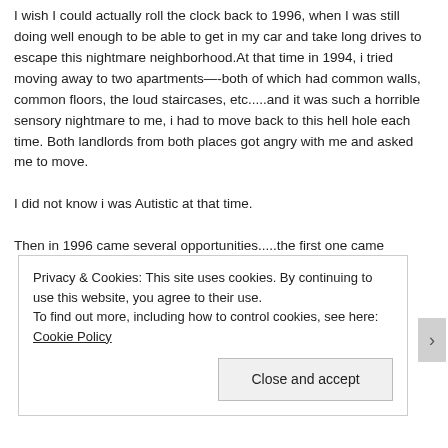I wish I could actually roll the clock back to 1996, when I was still doing well enough to be able to get in my car and take long drives to escape this nightmare neighborhood. At that time in 1994, i tried moving away to two apartments—-both of which had common walls, common floors, the loud staircases, etc.....and it was such a horrible sensory nightmare to me, i had to move back to this hell hole each time. Both landlords from both places got angry with me and asked me to move.

I did not know i was Autistic at that time.

Then in 1996 came several opportunities.....the first one came
Privacy & Cookies: This site uses cookies. By continuing to use this website, you agree to their use.
To find out more, including how to control cookies, see here: Cookie Policy
Close and accept